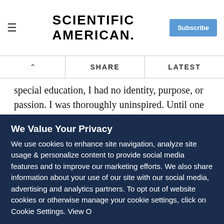Scientific American — Subscribe
special education, I had no identity, purpose, or passion. I was thoroughly uninspired. Until one day, a special education teacher questioned my place in the school hierarchy, causing me to question my own perceived and self-imposed limitations. That moment changed everything.
Here's my recent TEDx talk, in which I share my personal experiences and call for a culture of inspiration:
We Value Your Privacy
We use cookies to enhance site navigation, analyze site usage & personalize content to provide social media features and to improve our marketing efforts. We also share information about your use of our site with our social media, advertising and analytics partners. To opt out of website cookies or otherwise manage your cookie settings, click on Cookie Settings. View O